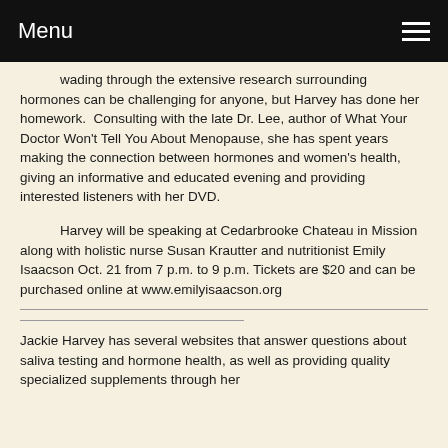Menu
Wading through the extensive research surrounding hormones can be challenging for anyone, but Harvey has done her homework.  Consulting with the late Dr. Lee, author of What Your Doctor Won't Tell You About Menopause, she has spent years making the connection between hormones and women's health, giving an informative and educated evening and providing interested listeners with her DVD.
Harvey will be speaking at Cedarbrooke Chateau in Mission along with holistic nurse Susan Krautter and nutritionist Emily Isaacson Oct. 21 from 7 p.m. to 9 p.m. Tickets are $20 and can be purchased online at www.emilyisaacson.org
Jackie Harvey has several websites that answer questions about saliva testing and hormone health, as well as providing quality specialized supplements through her